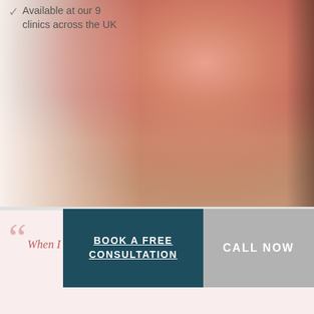Available at our 9 clinics across the UK
[Figure (photo): Close-up photo of a woman's torso wearing a pink/coral bra, showing breast augmentation result]
BOOK A FREE CONSULTATION
CALL NOW
When I woke up and saw what a terrific and neat job he did, I cried. I am forever indebted to him!